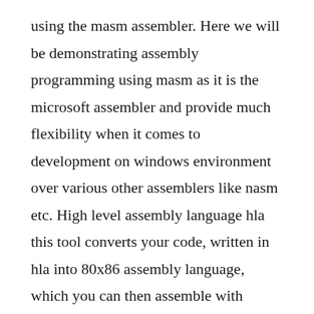using the masm assembler. Here we will be demonstrating assembly programming using masm as it is the microsoft assembler and provide much flexibility when it comes to development on windows environment over various other assemblers like nasm etc. High level assembly language hla this tool converts your code, written in hla into 80x86 assembly language, which you can then assemble with masm or fasm. The art of assembly language page iii the art of assembly language full contents forward why would anyone learn this stuff